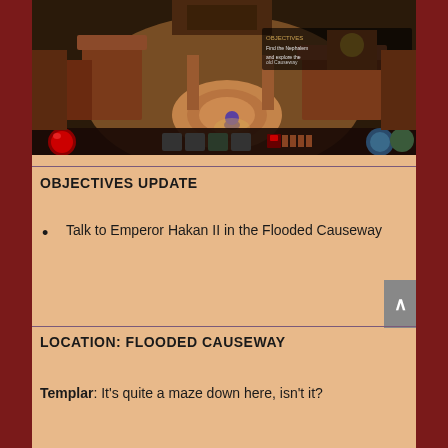[Figure (screenshot): Top-down isometric view of a Diablo III game scene showing a circular courtyard area with desert/middle-eastern architecture, game HUD visible at bottom with health globe and skill bar]
OBJECTIVES UPDATE
Talk to Emperor Hakan II in the Flooded Causeway
LOCATION: FLOODED CAUSEWAY
Templar: It's quite a maze down here, isn't it?